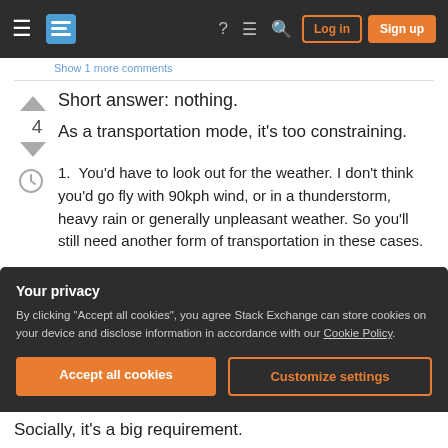Stack Exchange navigation bar with Log in and Sign up buttons
Show 1 more comments
Short answer: nothing.
As a transportation mode, it's too constraining.
1. You'd have to look out for the weather. I don't think you'd go fly with 90kph wind, or in a thunderstorm, heavy rain or generally unpleasant weather. So you'll still need another form of transportation in these cases.
Your privacy
By clicking "Accept all cookies", you agree Stack Exchange can store cookies on your device and disclose information in accordance with our Cookie Policy.
Accept all cookies
Customize settings
Socially, it's a big requirement.